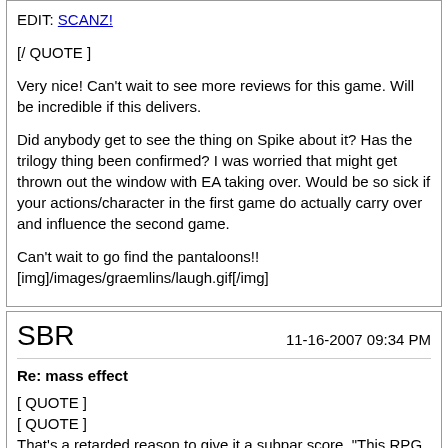EDIT: SCANZ!
[/ QUOTE ]
Very nice! Can't wait to see more reviews for this game. Will be incredible if this delivers.
Did anybody get to see the thing on Spike about it? Has the trilogy thing been confirmed? I was worried that might get thrown out the window with EA taking over. Would be so sick if your actions/character in the first game do actually carry over and influence the second game.
Can't wait to go find the pantaloons!!
[img]/images/graemlins/laugh.gif[/img]
SBR
11-16-2007 09:34 PM
Re: mass effect
[ QUOTE ]
[ QUOTE ]
That's a retarded reason to give it a subpar score, "This RPG doesn't play like a FPS, WTF?"
[/ QUOTE ]
Well, that's a valid point to make when you compare it to an RPG like